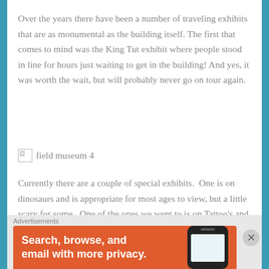Over the years there have been a number of traveling exhibits that are as monumental as the building itself. The first that comes to mind was the King Tut exhibit where people stood in line for hours just waiting to get in the building! And yes, it was worth the wait, but will probably never go on tour again.
[Figure (photo): Broken image placeholder labeled 'field museum 4']
Currently there are a couple of special exhibits.  One is on dinosaurs and is appropriate for most ages to view, but a little scary for some.  One of the ones we went to is on Tattoo's and is for adults.  With the societal changes, it is now the norm to see a young man or women with a
Advertisements
[Figure (screenshot): Advertisement banner: DuckDuckGo ad - 'Search, browse, and email with more privacy.' with phone graphic and duck logo on orange background]